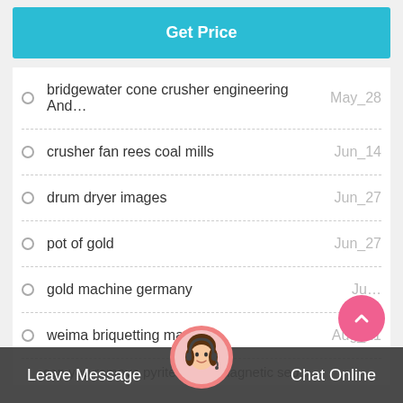Get Price
bridgewater cone crusher engineering And…
crusher fan rees coal mills
drum dryer images
pot of gold
gold machine germany
weima briquetting machin…
can you remove pyrite with a magnetic sep…
Leave Message
Chat Online